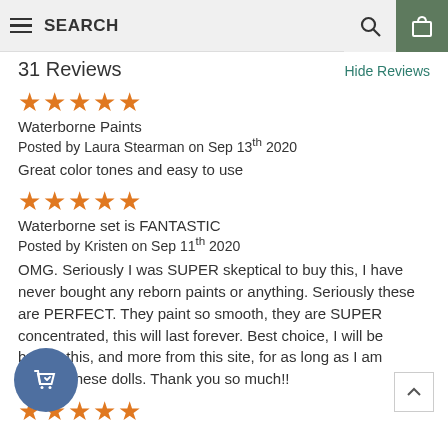SEARCH
31 Reviews   Hide Reviews
★★★★★
Waterborne Paints
Posted by Laura Stearman on Sep 13th 2020
Great color tones and easy to use
★★★★★
Waterborne set is FANTASTIC
Posted by Kristen on Sep 11th 2020
OMG. Seriously I was SUPER skeptical to buy this, I have never bought any reborn paints or anything. Seriously these are PERFECT. They paint so smooth, they are SUPER concentrated, this will last forever. Best choice, I will be buying this, and more from this site, for as long as I am making these dolls. Thank you so much!!
★★★★★